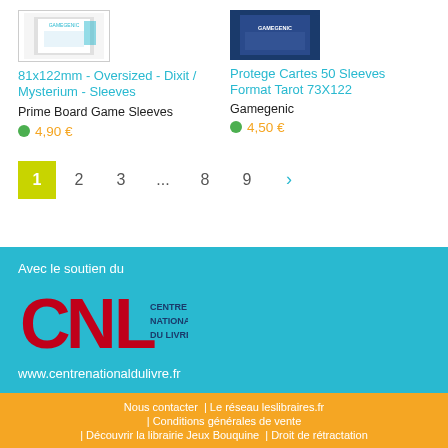[Figure (photo): Product image for 81x122mm Oversized Dixit Mysterium Sleeves]
81x122mm - Oversized - Dixit / Mysterium - Sleeves
Prime Board Game Sleeves
4,90 €
[Figure (photo): Product image for Protege Cartes 50 Sleeves Format Tarot 73X122]
Protege Cartes 50 Sleeves Format Tarot 73X122
Gamegenic
4,50 €
1
2
3
...
8
9
>
Avec le soutien du
[Figure (logo): CNL - Centre National du Livre logo in red and dark blue]
www.centrenationaldulivre.fr
Nous contacter | Le réseau leslibraires.fr | Conditions générales de vente | Découvrir la librairie Jeux Bouquine | Droit de rétractation